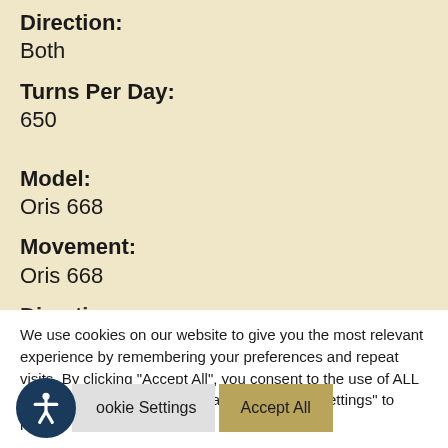Direction:
Both
Turns Per Day:
650
Model:
Oris 668
Movement:
Oris 668
Direction:
We use cookies on our website to give you the most relevant experience by remembering your preferences and repeat visits. By clicking "Accept All", you consent to the use of ALL the cookies. However, you may visit "Cookie Settings" to provide a controlled consent.
Cookie Settings
Accept All